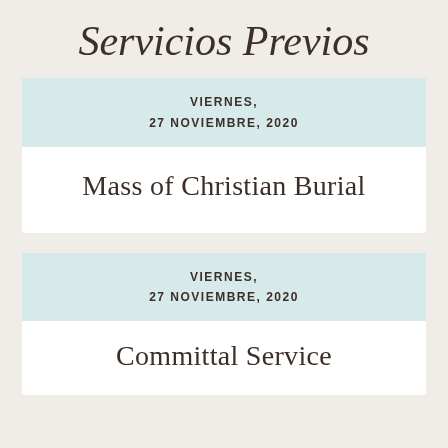Servicios Previos
VIERNES,
27 NOVIEMBRE, 2020
Mass of Christian Burial
VIERNES,
27 NOVIEMBRE, 2020
Committal Service